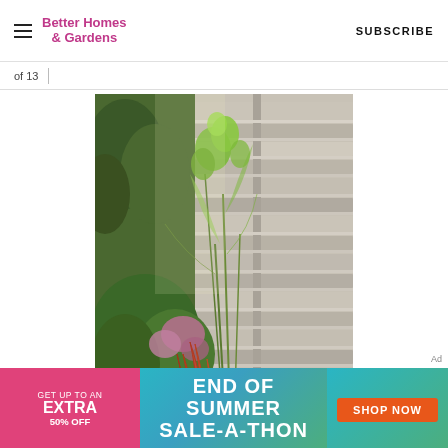Better Homes & Gardens | SUBSCRIBE
of 13
[Figure (photo): A wooden horizontal-slat fence with green leafy plants and purple flowers growing in front of it, photographed in a garden setting.]
Ad
[Figure (infographic): Banner advertisement: 'GET UP TO AN EXTRA 50% OFF END OF SUMMER SALE-A-THON SHOP NOW']